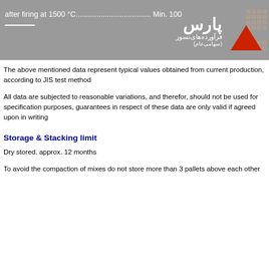after firing at 1500 °C................................ Min. 100
[Figure (logo): Pars Faravarde Nasoz company logo with Persian text and red triangle graphic on grey background]
The above mentioned data represent typical values obtained from current production, according to JIS test method
All data are subjected to reasonable variations, and therefor, should not be used for specification purposes, guarantees in respect of these data are only valid if agreed upon in writing
Storage & Stacking limit
Dry stored. approx. 12 months
To avoid the compaction of mixes do not store more than 3 pallets above each other